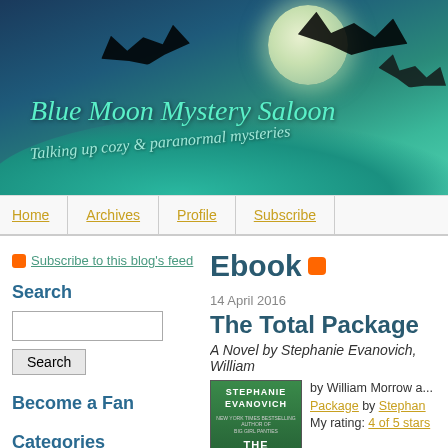[Figure (illustration): Blue Moon Mystery Saloon blog header banner with night sky, blue moon, bats, and teal hill. Title: Blue Moon Mystery Saloon. Subtitle: Talking up cozy & paranormal mysteries.]
Blue Moon Mystery Saloon — Talking up cozy & paranormal mysteries
Home | Archives | Profile | Subscribe
Subscribe to this blog's feed
Search
Become a Fan
Categories
Ebook
14 April 2016
The Total Package
A Novel by Stephanie Evanovich, William...
by William Morrow and... The Total Package by Stephan... My rating: 4 of 5 stars...
THE TOTAL PACKA...